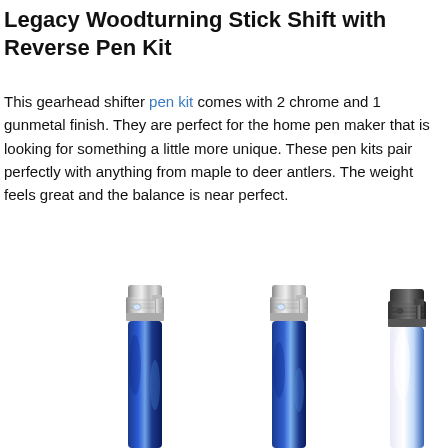Legacy Woodturning Stick Shift with Reverse Pen Kit
This gearhead shifter pen kit comes with 2 chrome and 1 gunmetal finish. They are perfect for the home pen maker that is looking for something a little more unique. These pen kits pair perfectly with anything from maple to deer antlers. The weight feels great and the balance is near perfect.
[Figure (photo): Three pen caps/clips shown side by side. Two on the left have chrome/silver finish with blue marbled barrel bodies. The one on the right has a dark gunmetal/black finish with a white and blue barrel.]